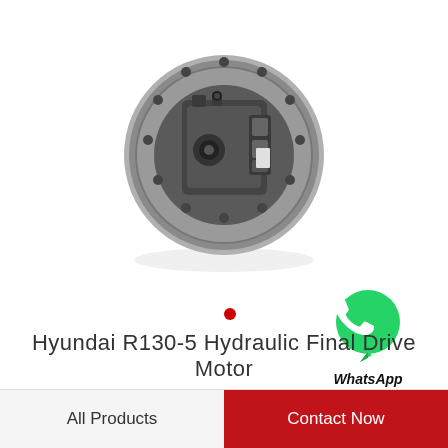[Figure (photo): Hyundai R130-5 hydraulic final drive motor, circular metal component with bolted flange and hydraulic motor assembly, viewed from above on white background]
[Figure (logo): WhatsApp green chat bubble icon with phone handset symbol, labeled WhatsApp Online]
Hyundai R130-5 Hydraulic Final Drive Motor
All Products
Contact Now